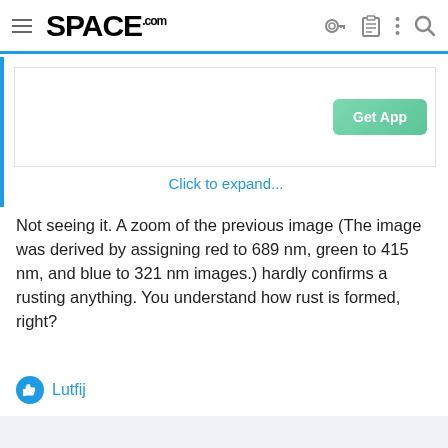SPACE.com
[Figure (screenshot): App advertisement banner with 'Get App' button and 'Click to expand...' link]
Not seeing it. A zoom of the previous image (The image was derived by assigning red to 689 nm, green to 415 nm, and blue to 321 nm images.) hardly confirms a rusting anything. You understand how rust is formed, right?
Lutfij